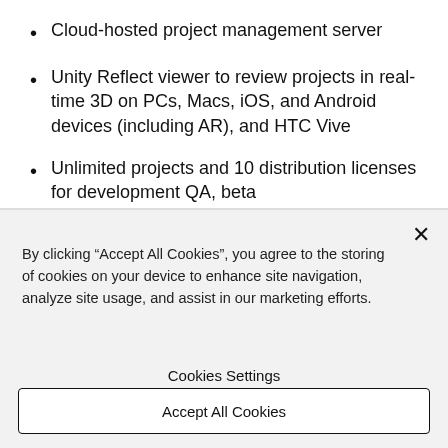Cloud-hosted project management server
Unity Reflect viewer to review projects in real-time 3D on PCs, Macs, iOS, and Android devices (including AR), and HTC Vive
Unlimited projects and 10 distribution licenses for development QA, beta
Access to additional feature APIs including
By clicking “Accept All Cookies”, you agree to the storing of cookies on your device to enhance site navigation, analyze site usage, and assist in our marketing efforts.
Cookies Settings
Accept All Cookies